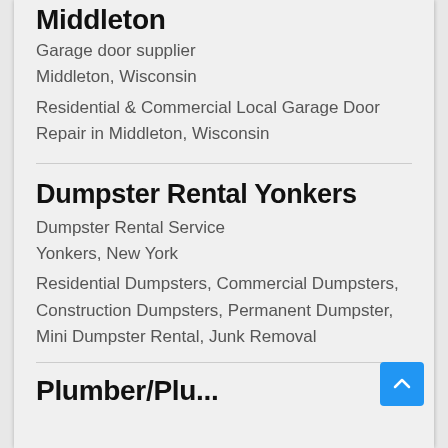Middleton
Garage door supplier
Middleton, Wisconsin
Residential & Commercial Local Garage Door Repair in Middleton, Wisconsin
Dumpster Rental Yonkers
Dumpster Rental Service
Yonkers, New York
Residential Dumpsters, Commercial Dumpsters, Construction Dumpsters, Permanent Dumpster, Mini Dumpster Rental, Junk Removal
Plumber/Plu...